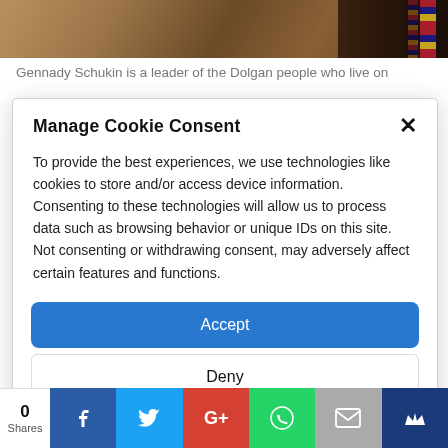[Figure (photo): Partial photo of Gennady Schukin, a leader of the Dolgan people, with decorative textile visible on the right side.]
Gennady Schukin is a leader of the Dolgan people who live on
Manage Cookie Consent
To provide the best experiences, we use technologies like cookies to store and/or access device information. Consenting to these technologies will allow us to process data such as browsing behavior or unique IDs on this site. Not consenting or withdrawing consent, may adversely affect certain features and functions.
Accept
Deny
View preferences
Cookie Policy   Privacy policy
0 Shares